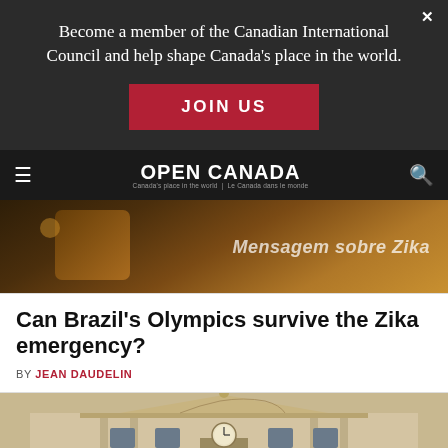Become a member of the Canadian International Council and help shape Canada's place in the world.
JOIN US
OPEN CANADA — Canada's place in the world | Le Canada dans le monde
[Figure (photo): Close-up photo of a phone or tablet showing text 'Mensagem sobre Zika' (Message about Zika) in Portuguese, with warm amber/golden tones]
Can Brazil's Olympics survive the Zika emergency?
BY JEAN DAUDELIN
[Figure (photo): Exterior facade of a classical/neoclassical building with a clock, ornate stonework, pediment and columns, in beige/stone tones]